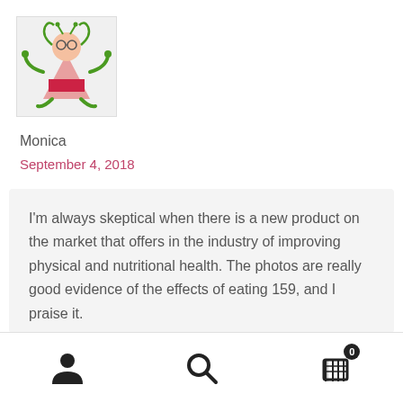[Figure (illustration): Cartoon avatar of a green insect-like character with glasses, wearing a pink/red outfit, with green arms and legs]
Monica
September 4, 2018
I'm always skeptical when there is a new product on the market that offers in the industry of improving physical and nutritional health. The photos are really good evidence of the effects of eating 159, and I praise it.
I'm an average healthy girl, work out 3 times a week (strength training, not overweight, and I'm